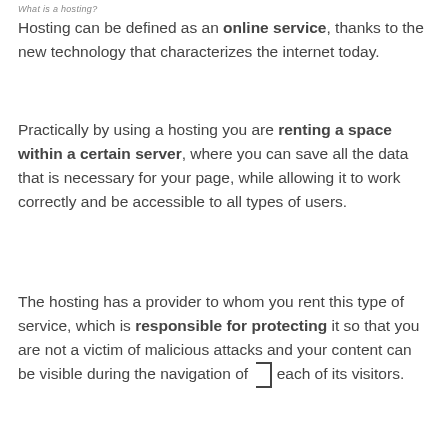What is a hosting?
Hosting can be defined as an online service, thanks to the new technology that characterizes the internet today.
Practically by using a hosting you are renting a space within a certain server, where you can save all the data that is necessary for your page, while allowing it to work correctly and be accessible to all types of users.
The hosting has a provider to whom you rent this type of service, which is responsible for protecting it so that you are not a victim of malicious attacks and your content can be visible during the navigation of each of its visitors.